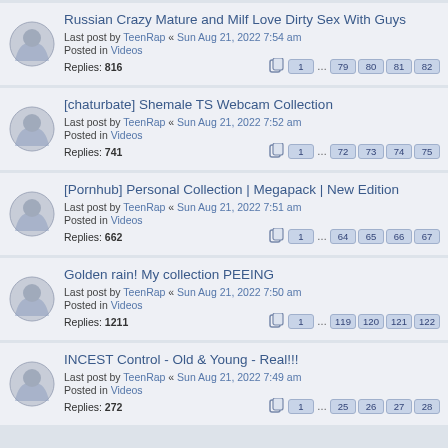Russian Crazy Mature and Milf Love Dirty Sex With Guys
Last post by TeenRap « Sun Aug 21, 2022 7:54 am
Posted in Videos
Replies: 816 | Pages: 1 ... 79 80 81 82
[chaturbate] Shemale TS Webcam Collection
Last post by TeenRap « Sun Aug 21, 2022 7:52 am
Posted in Videos
Replies: 741 | Pages: 1 ... 72 73 74 75
[Pornhub] Personal Collection | Megapack | New Edition
Last post by TeenRap « Sun Aug 21, 2022 7:51 am
Posted in Videos
Replies: 662 | Pages: 1 ... 64 65 66 67
Golden rain! My collection PEEING
Last post by TeenRap « Sun Aug 21, 2022 7:50 am
Posted in Videos
Replies: 1211 | Pages: 1 ... 119 120 121 122
INCEST Control - Old & Young - Real!!!
Last post by TeenRap « Sun Aug 21, 2022 7:49 am
Posted in Videos
Replies: 272 | Pages: 1 ... 25 26 27 28